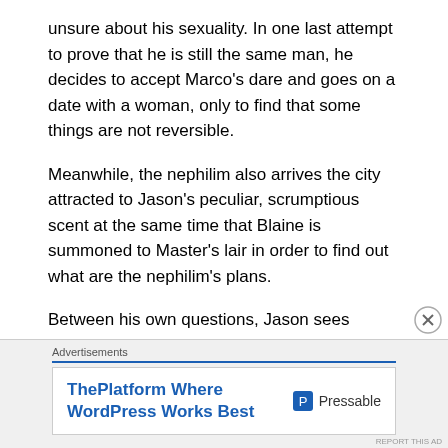unsure about his sexuality. In one last attempt to prove that he is still the same man, he decides to accept Marco's dare and goes on a date with a woman, only to find that some things are not reversible.
Meanwhile, the nephilim also arrives the city attracted to Jason's peculiar, scrumptious scent at the same time that Blaine is summoned to Master's lair in order to find out what are the nephilim's plans.
Between his own questions, Jason sees himself in the middle of the inevitable clash between the demon and the nephilim. What could be the nephilim's mission? And what is Blaine's true intent?
[Figure (other): Advertisement banner for Pressable - ThePlatform Where WordPress Works Best]